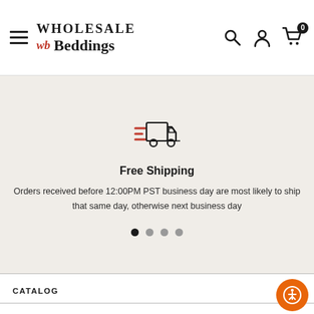Wholesale wb Beddings
[Figure (illustration): Fast shipping truck icon with speed lines in orange and dark grey]
Free Shipping
Orders received before 12:00PM PST business day are most likely to ship that same day, otherwise next business day
[Figure (other): Carousel dots: four circles, first filled dark, rest grey]
CATALOG +
LINKS +
COMPANY: +